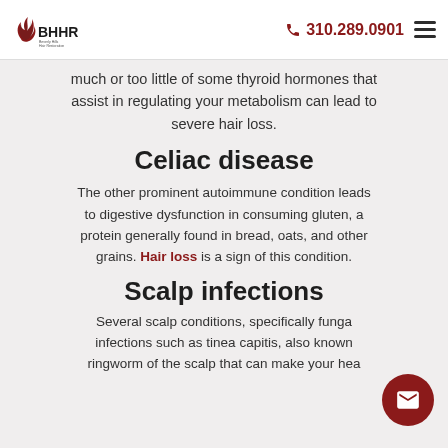BHHR Beverly Hills Hair Restoration | 310.289.0901
much or too little of some thyroid hormones that assist in regulating your metabolism can lead to severe hair loss.
Celiac disease
The other prominent autoimmune condition leads to digestive dysfunction in consuming gluten, a protein generally found in bread, oats, and other grains. Hair loss is a sign of this condition.
Scalp infections
Several scalp conditions, specifically fungal infections such as tinea capitis, also known as ringworm of the scalp that can make your head